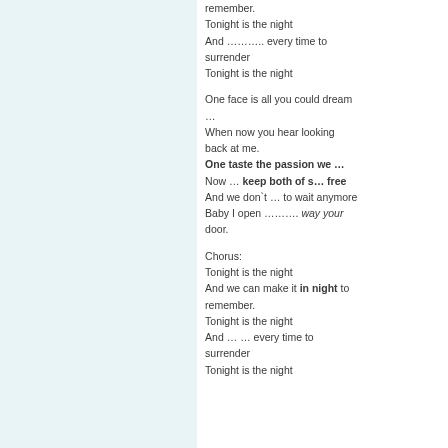remember.
Tonight is the night
And ……….. every time to surrender
Tonight is the night

One face is all you could dream …
When now you hear looking back at me.
One taste the passion we …
Now … keep both of s… free
And we don`t … to wait anymore
Baby I open ………. way your door.

Chorus:
Tonight is the night
And we can make it in night to remember.
Tonight is the night
And … … every time to surrender
Tonight is the night